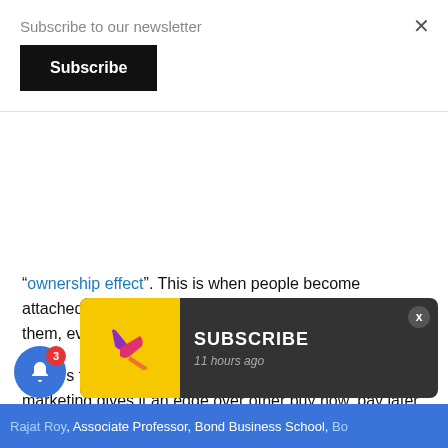Subscribe to our newsletter
Subscribe
“ownership effect”. This is when people become attached to their purchases and are unlikely to return them, even if they can’t afford them.
Apple’s technology-driven and consumer-centric marketing gives it an edge over other buy now, pay later schemes. It claims the service is designed with consumers’ financial health in mind. But as is the case with any of these services, consumers ought to be aware of the risks and manage them carefully.
Rajat Roy, Associate Professor, Bond Business School, Bo...